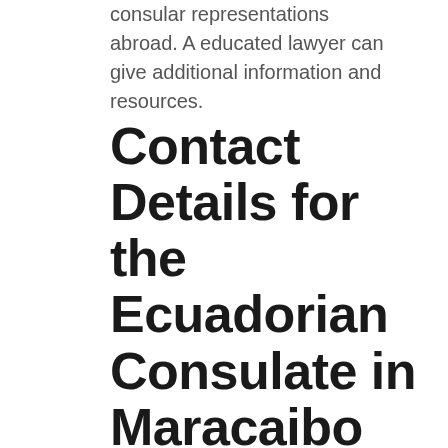consular representations abroad. A educated lawyer can give additional information and resources.
Contact Details for the Ecuadorian Consulate in Maracaibo